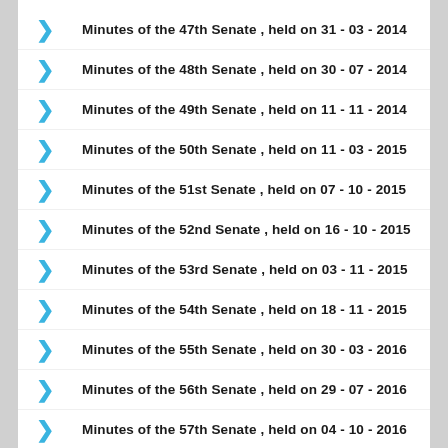Minutes of the 47th Senate , held on 31 - 03 - 2014
Minutes of the 48th Senate , held on 30 - 07 - 2014
Minutes of the 49th Senate , held on 11 - 11 - 2014
Minutes of the 50th Senate , held on 11 - 03 - 2015
Minutes of the 51st Senate , held on 07 - 10 - 2015
Minutes of the 52nd Senate , held on 16 - 10 - 2015
Minutes of the 53rd Senate , held on 03 - 11 - 2015
Minutes of the 54th Senate , held on 18 - 11 - 2015
Minutes of the 55th Senate , held on 30 - 03 - 2016
Minutes of the 56th Senate , held on 29 - 07 - 2016
Minutes of the 57th Senate , held on 04 - 10 - 2016